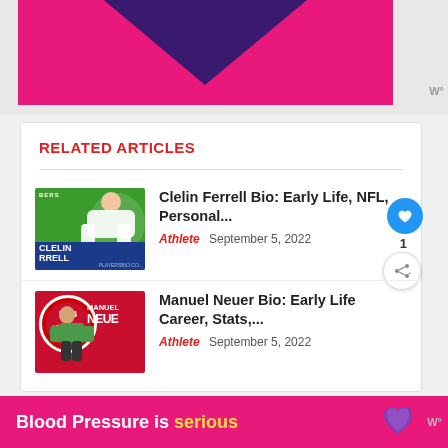[Figure (illustration): Pink banner with dark purple heart/chevron shape at top of page]
RELATED ARTICLES
[Figure (photo): Clelin Ferrell in white uniform on green background with blue banner showing name CLELIN FERRELL]
Clelin Ferrell Bio: Early Life, NFL, Personal...
Athlete  September 5, 2022
[Figure (photo): Manuel Neuer with Bayern Munich badge and name text MANUEL NEUE]
Manuel Neuer Bio: Early Life Career, Stats,...
Athlete  September 5, 2022
[Figure (infographic): Bottom ad banner: Blood Pressure is serious with purple heart icon]